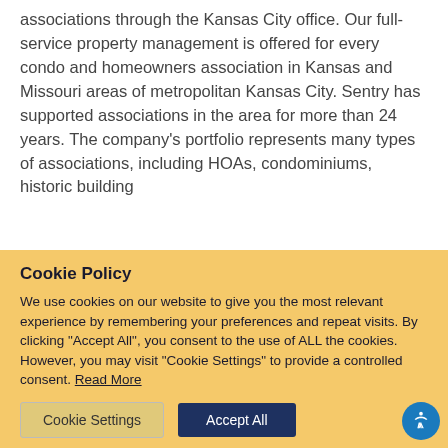associations through the Kansas City office. Our full-service property management is offered for every condo and homeowners association in Kansas and Missouri areas of metropolitan Kansas City. Sentry has supported associations in the area for more than 24 years. The company's portfolio represents many types of associations, including HOAs, condominiums, historic building
Cookie Policy
We use cookies on our website to give you the most relevant experience by remembering your preferences and repeat visits. By clicking "Accept All", you consent to the use of ALL the cookies. However, you may visit "Cookie Settings" to provide a controlled consent. Read More